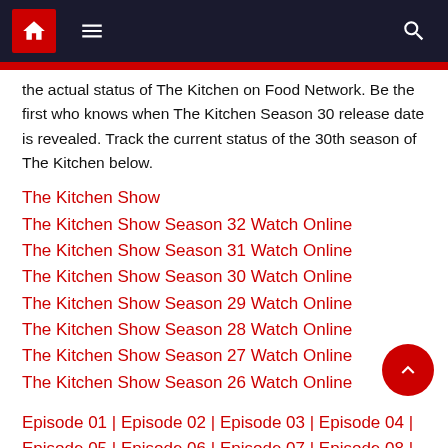Navigation bar with home icon, hamburger menu, and search icon
the actual status of The Kitchen on Food Network. Be the first who knows when The Kitchen Season 30 release date is revealed. Track the current status of the 30th season of The Kitchen below.
The Kitchen Show
The Kitchen Show Season 32 Watch Online
The Kitchen Show Season 31 Watch Online
The Kitchen Show Season 30 Watch Online
The Kitchen Show Season 29 Watch Online
The Kitchen Show Season 28 Watch Online
The Kitchen Show Season 27 Watch Online
The Kitchen Show Season 26 Watch Online
Episode 01 | Episode 02 | Episode 03 | Episode 04 | Episode 05 | Episode 06 | Episode 07 | Episode 08 | Episode 09 | Episode 10 | Episode 11 | Episode 12 | Episode 13